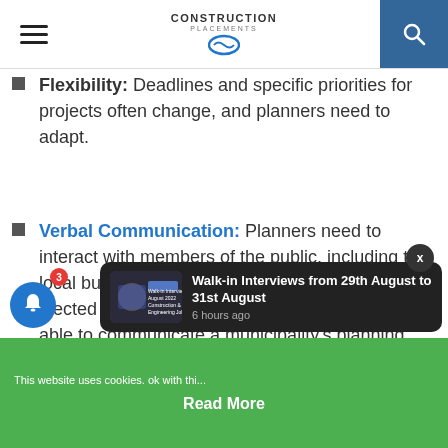Construction Placements
Flexibility: Deadlines and specific priorities for projects often change, and planners need to adapt.
Verbal Communication: Planners need to interact with members of the public, including the local business community and members of elected councils and boards. It's important to be able to communicate a municipality's planning needs while also listening to the interests and priorities of others.
Walk-in Interviews from 29th August to 31st August - 6 hours ago
This website uses cookies. Read More